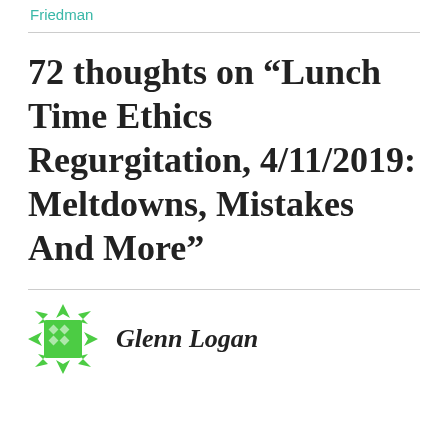Friedman
72 thoughts on “Lunch Time Ethics Regurgitation, 4/11/2019: Meltdowns, Mistakes And More”
[Figure (logo): Green star/cross decorative icon for Glenn Logan author avatar]
Glenn Logan